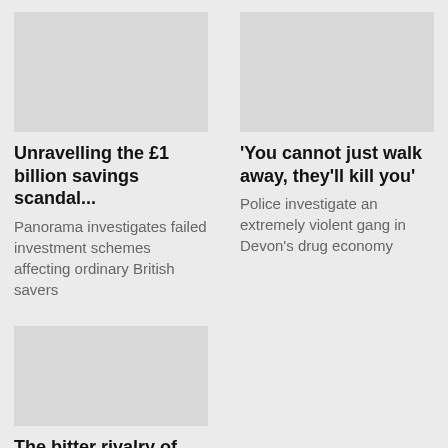Unravelling the £1 billion savings scandal...
Panorama investigates failed investment schemes affecting ordinary British savers
'You cannot just walk away, they'll kill you'
Police investigate an extremely violent gang in Devon's drug economy
The bitter rivalry of The Beast and The Mountain
Exclusive and intimate access to Eddie Hall in the lead-up to the heaviest boxing match in history